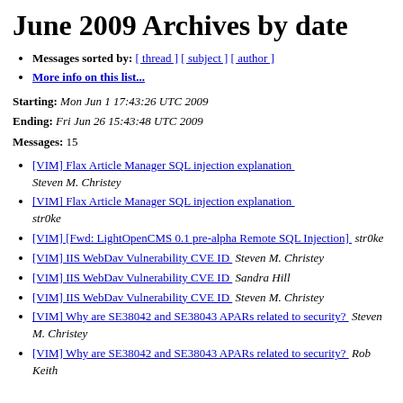June 2009 Archives by date
Messages sorted by: [ thread ] [ subject ] [ author ]
More info on this list...
Starting: Mon Jun 1 17:43:26 UTC 2009
Ending: Fri Jun 26 15:43:48 UTC 2009
Messages: 15
[VIM] Flax Article Manager SQL injection explanation   Steven M. Christey
[VIM] Flax Article Manager SQL injection explanation   str0ke
[VIM] [Fwd: LightOpenCMS 0.1 pre-alpha Remote SQL Injection]   str0ke
[VIM] IIS WebDav Vulnerability CVE ID   Steven M. Christey
[VIM] IIS WebDav Vulnerability CVE ID   Sandra Hill
[VIM] IIS WebDav Vulnerability CVE ID   Steven M. Christey
[VIM] Why are SE38042 and SE38043 APARs related to security?   Steven M. Christey
[VIM] Why are SE38042 and SE38043 APARs related to security?   Rob Keith